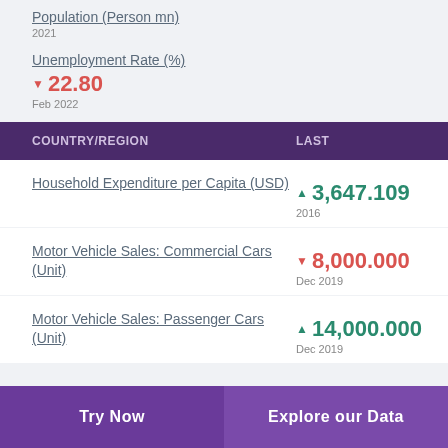Population (Person mn)
2021
Unemployment Rate (%) ▼ 22.80 Feb 2022
| COUNTRY/REGION | LAST |
| --- | --- |
| Household Expenditure per Capita (USD) | ▲ 3,647.109
2016 |
| Motor Vehicle Sales: Commercial Cars (Unit) | ▼ 8,000.000
Dec 2019 |
| Motor Vehicle Sales: Passenger Cars (Unit) | ▲ 14,000.000
Dec 2019 |
Try Now | Explore our Data